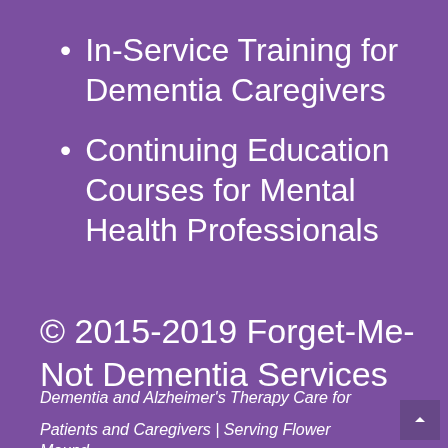In-Service Training for Dementia Caregivers
Continuing Education Courses for Mental Health Professionals
© 2015-2019 Forget-Me-Not Dementia Services
Dementia and Alzheimer's Therapy Care for
Patients and Caregivers | Serving Flower Mound,